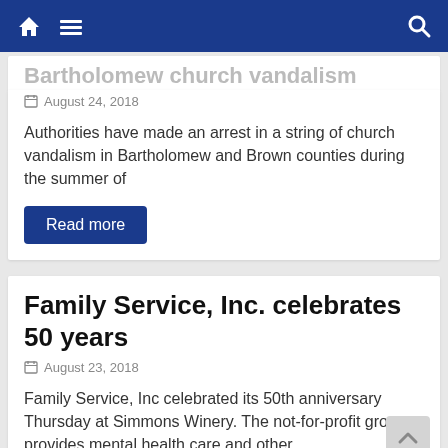Navigation bar with home, menu, and search icons
Bartholomew church vandalism (partially clipped)
August 24, 2018
Authorities have made an arrest in a string of church vandalism in Bartholomew and Brown counties during the summer of
Read more
Family Service, Inc. celebrates 50 years
August 23, 2018
Family Service, Inc celebrated its 50th anniversary Thursday at Simmons Winery. The not-for-profit group provides mental health care and other